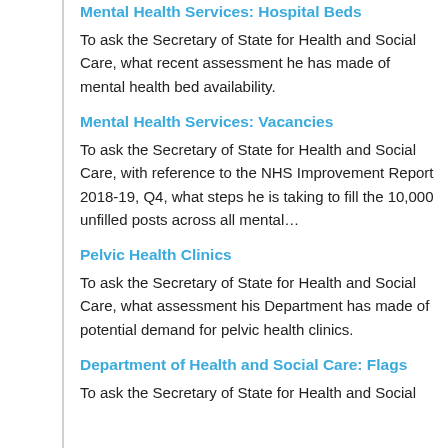Mental Health Services: Hospital Beds
To ask the Secretary of State for Health and Social Care, what recent assessment he has made of mental health bed availability.
Mental Health Services: Vacancies
To ask the Secretary of State for Health and Social Care, with reference to the NHS Improvement Report 2018-19, Q4, what steps he is taking to fill the 10,000 unfilled posts across all mental…
Pelvic Health Clinics
To ask the Secretary of State for Health and Social Care, what assessment his Department has made of potential demand for pelvic health clinics.
Department of Health and Social Care: Flags
To ask the Secretary of State for Health and Social